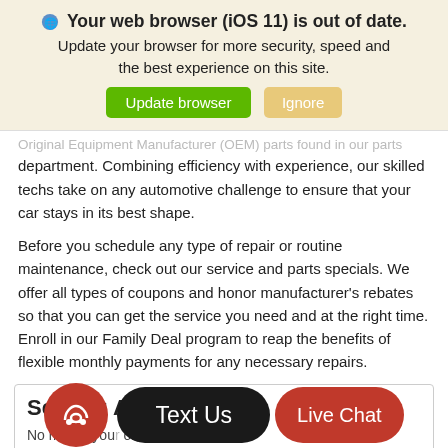🌐 Your web browser (iOS 11) is out of date. Update your browser for more security, speed and the best experience on this site.
Update browser | Ignore
Original Equipment Manufacturer (OEM) parts found in our parts department. Combining efficiency with experience, our skilled techs take on any automotive challenge to ensure that your car stays in its best shape.
Before you schedule any type of repair or routine maintenance, check out our service and parts specials. We offer all types of coupons and honor manufacturer's rebates so that you can get the service you need and at the right time. Enroll in our Family Deal program to reap the benefits of flexible monthly payments for any necessary repairs.
Serving Ann Arbor MI
No matter your location, or, type of excitement right in front of you. By the University of